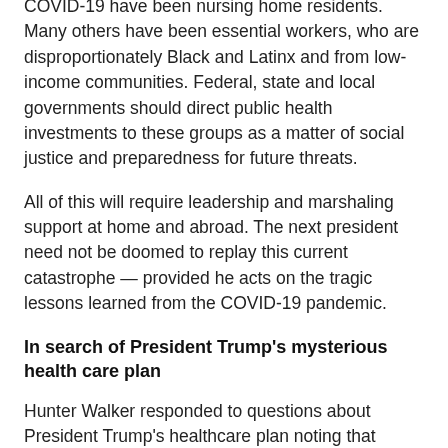COVID-19 have been nursing home residents. Many others have been essential workers, who are disproportionately Black and Latinx and from low-income communities. Federal, state and local governments should direct public health investments to these groups as a matter of social justice and preparedness for future threats.
All of this will require leadership and marshaling support at home and abroad. The next president need not be doomed to replay this current catastrophe — provided he acts on the tragic lessons learned from the COVID-19 pandemic.
In search of President Trump's mysterious health care plan
Hunter Walker responded to questions about President Trump's healthcare plan noting that President Trump's health care plan has become one of the most highly anticipated, hotly debated documents in Washington. And depending on